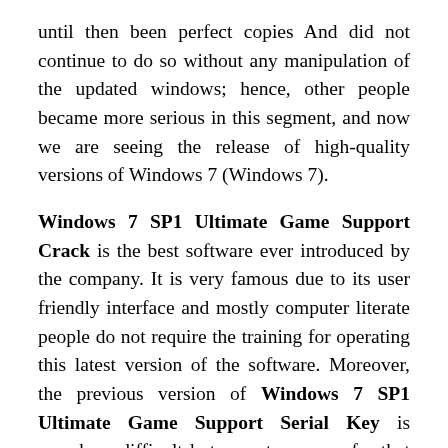until then been perfect copies And did not continue to do so without any manipulation of the updated windows; hence, other people became more serious in this segment, and now we are seeing the release of high-quality versions of Windows 7 (Windows 7).
Windows 7 SP1 Ultimate Game Support Crack is the best software ever introduced by the company. It is very famous due to its user friendly interface and mostly computer literate people do not require the training for operating this latest version of the software. Moreover, the previous version of Windows 7 SP1 Ultimate Game Support Serial Key is somehow difficult but expert users prefer that version. It